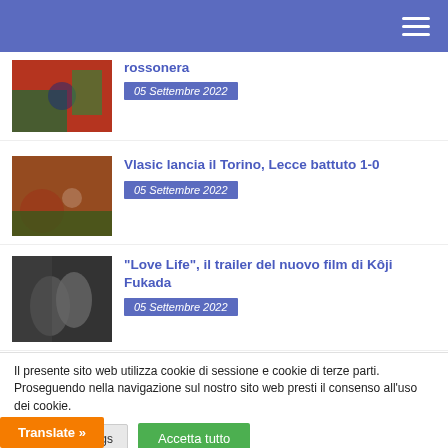rossonera
05 Settembre 2022
Vlasic lancia il Torino, Lecce battuto 1-0
05 Settembre 2022
“Love Life”, il trailer del nuovo film di Kôji Fukada
05 Settembre 2022
Il presente sito web utilizza cookie di sessione e cookie di terze parti. Proseguendo nella navigazione sul nostro sito web presti il consenso all’uso dei cookie.
Cookie Settings
Accetta tutto
Translate »